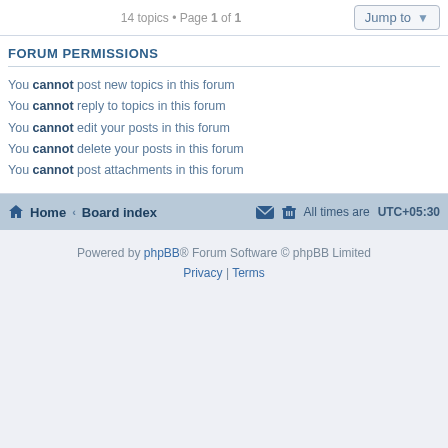14 topics • Page 1 of 1
FORUM PERMISSIONS
You cannot post new topics in this forum
You cannot reply to topics in this forum
You cannot edit your posts in this forum
You cannot delete your posts in this forum
You cannot post attachments in this forum
Home · Board index   All times are UTC+05:30
Powered by phpBB® Forum Software © phpBB Limited
Privacy | Terms